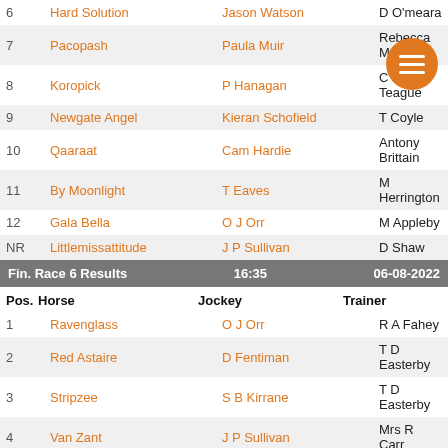|  | Horse | Jockey | Trainer |
| --- | --- | --- | --- |
| 6 | Hard Solution | Jason Watson | D O'meara |
| 7 | Pacopash | Paula Muir | Rebecca M… |
| 8 | Koropick | P Hanagan | C J Teague |
| 9 | Newgate Angel | Kieran Schofield | T Coyle |
| 10 | Qaaraat | Cam Hardie | Antony Brittain |
| 11 | By Moonlight | T Eaves | M Herrington |
| 12 | Gala Bella | O J Orr | M Appleby |
| NR | Littlemissattitude | J P Sullivan | D Shaw |
Fin. Race 6 Results   16:35   06-08-2022
| Pos. | Horse | Jockey | Trainer |
| --- | --- | --- | --- |
| 1 | Ravenglass | O J Orr | R A Fahey |
| 2 | Red Astaire | D Fentiman | T D Easterby |
| 3 | Stripzee | S B Kirrane | T D Easterby |
| 4 | Van Zant | J P Sullivan | Mrs R Carr |
| 5 | Premiership | A Elliott | Miss Tracy Waggott |
| 6 | Lady Xenia | P Hanagan | Craig Lidster |
| 7 | Tidewell | Oisin Mcsweeney | D Thompson |
| 8 | Purple Ice | T Eaves | M Dods |
| 9 | Jazz Samba | S A Gray | M W Easterby |